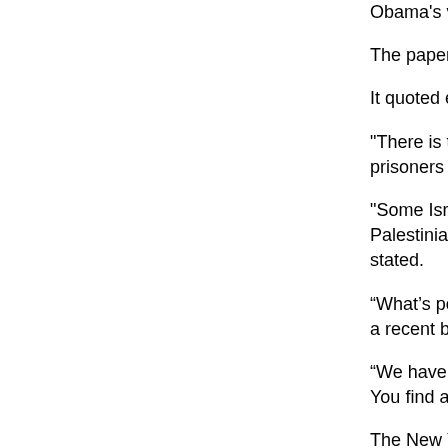Obama's visit.
The paper further reported that the United Sta... million in aid to the Palestinian Authority that...
It quoted experts as saying that changes may...
"There is talk of giving the Palestinians partia... West Bank where Israel currently rules. Israe... Palestinian prisoners as a gesture," the pape...
"Some Israelis and Americans are pushing th... of Jewish settlement construction in the West... by the Palestinians to postpone plans to use... United Nations to pursue claims against Israe... Court," it was further stated.
“What’s possibly new is not to simply focus o... that’s too limited,” said Daniel Kurtzer, a form... Egypt who edited a recent book on the situati...
“We have to be able to do four or five things n... no one can say we’ve prejudiced this peace p... smorgasbord. You find a little bit that’s of valu... things you don’t like, but the whole table is so...
The New York Times questioned the likelihoo... Prime Minister Benjamin Netanyahu and Pale...